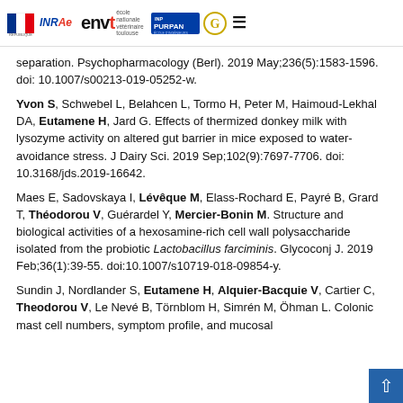Logos: République Française, INRAE, envt école nationale vétérinaire toulouse, INP PURPAN école d'ingénieurs, G logo, menu
separation. Psychopharmacology (Berl). 2019 May;236(5):1583-1596. doi: 10.1007/s00213-019-05252-w.
Yvon S, Schwebel L, Belahcen L, Tormo H, Peter M, Haimoud-Lekhal DA, Eutamene H, Jard G. Effects of thermized donkey milk with lysozyme activity on altered gut barrier in mice exposed to water-avoidance stress. J Dairy Sci. 2019 Sep;102(9):7697-7706. doi: 10.3168/jds.2019-16642.
Maes E, Sadovskaya I, Lévêque M, Elass-Rochard E, Payré B, Grard T, Théodorou V, Guérardel Y, Mercier-Bonin M. Structure and biological activities of a hexosamine-rich cell wall polysaccharide isolated from the probiotic Lactobacillus farciminis. Glycoconj J. 2019 Feb;36(1):39-55. doi:10.1007/s10719-018-09854-y.
Sundin J, Nordlander S, Eutamene H, Alquier-Bacquie V, Cartier C, Theodorou V, Le Nevé B, Törnblom H, Simrén M, Öhman L. Colonic mast cell numbers, symptom profile, and mucosal